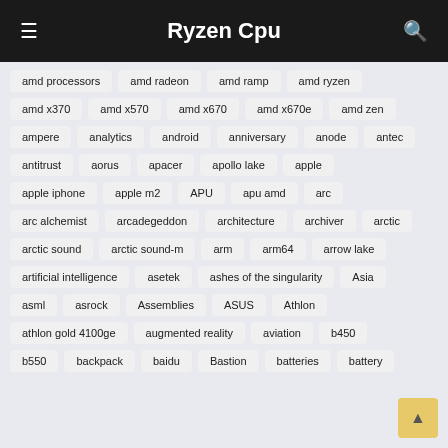Ryzen Cpu
amd processors
amd radeon
amd ramp
amd ryzen
amd x370
amd x570
amd x670
amd x670e
amd zen
ampere
analytics
android
anniversary
anode
antec
antitrust
aorus
apacer
apollo lake
apple
apple iphone
apple m2
APU
apu amd
arc
arc alchemist
arcadegeddon
architecture
archiver
arctic
arctic sound
arctic sound-m
arm
arm64
arrow lake
artificial intelligence
asetek
ashes of the singularity
Asia
asml
asrock
Assemblies
ASUS
Athlon
athlon gold 4100ge
augmented reality
aviation
b450
b550
backpack
baidu
Bastion
batteries
battery